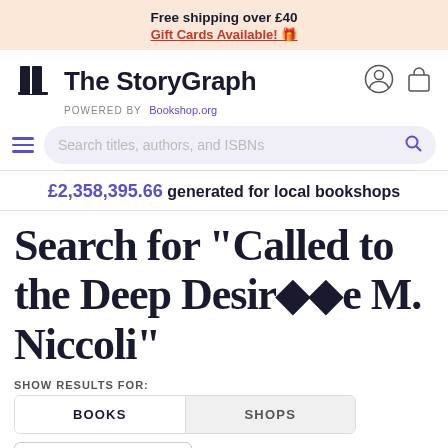Free shipping over £40
Gift Cards Available! 🎁
[Figure (logo): The StoryGraph logo with book icon, site name, and 'POWERED BY Bookshop.org' tagline]
Search titles, authors, and ISBNs
£2,358,395.66 generated for local bookshops
Search for "Called to the Deep Desire M. Niccoli"
SHOW RESULTS FOR:
BOOKS	SHOPS